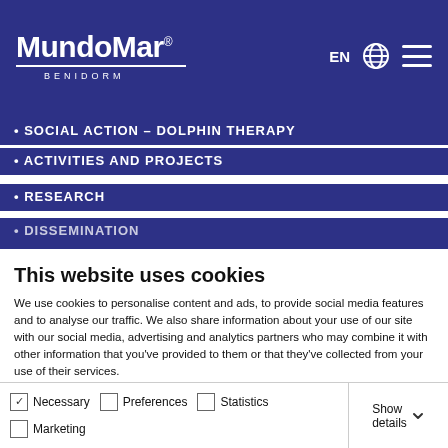MundoMar BENIDORM
• SOCIAL ACTION – DOLPHIN THERAPY
• ACTIVITIES AND PROJECTS
• RESEARCH
• DISSEMINATION
This website uses cookies
We use cookies to personalise content and ads, to provide social media features and to analyse our traffic. We also share information about your use of our site with our social media, advertising and analytics partners who may combine it with other information that you've provided to them or that they've collected from your use of their services.
Allow all cookies
Allow selection
Use necessary cookies only
Necessary  Preferences  Statistics  Marketing  Show details